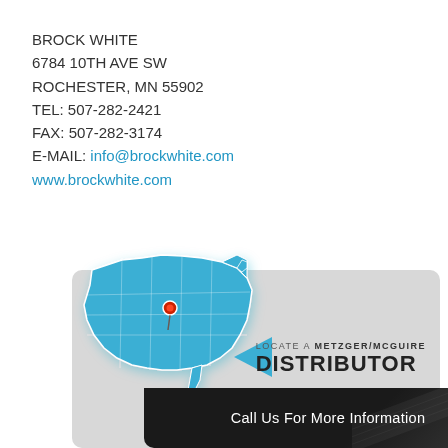BROCK WHITE
6784 10TH AVE SW
ROCHESTER, MN 55902
TEL: 507-282-2421
FAX: 507-282-3174
E-MAIL: info@brockwhite.com
www.brockwhite.com
[Figure (map): USA map with a red pin marker in the midwest region, with blue shaded states. A blue left-pointing triangle arrow points to text 'LOCATE A METZGER/McGUIRE DISTRIBUTOR' on a grey banner background.]
Call Us For More Information